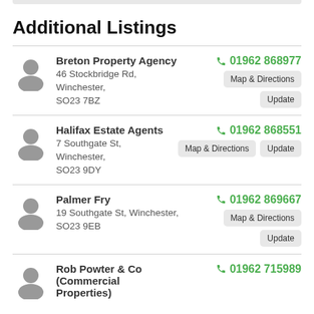Additional Listings
Breton Property Agency, 46 Stockbridge Rd, Winchester, SO23 7BZ, 01962 868977
Halifax Estate Agents, 7 Southgate St, Winchester, SO23 9DY, 01962 868551
Palmer Fry, 19 Southgate St, Winchester, SO23 9EB, 01962 869667
Rob Powter & Co (Commercial Properties), 01962 715989